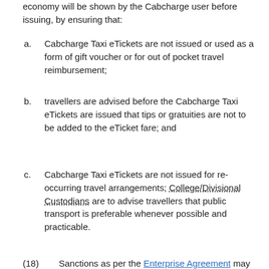economy will be shown by the Cabcharge user before issuing, by ensuring that:
a. Cabcharge Taxi eTickets are not issued or used as a form of gift voucher or for out of pocket travel reimbursement;
b. travellers are advised before the Cabcharge Taxi eTickets are issued that tips or gratuities are not to be added to the eTicket fare; and
c. Cabcharge Taxi eTickets are not issued for re-occurring travel arrangements; College/Divisional Custodians are to advise travellers that public transport is preferable whenever possible and practicable.
(18) Sanctions as per the Enterprise Agreement may be imposed for staff misconduct in relation to these procedures.
(19) Standard procedures for the ordering, issuing,